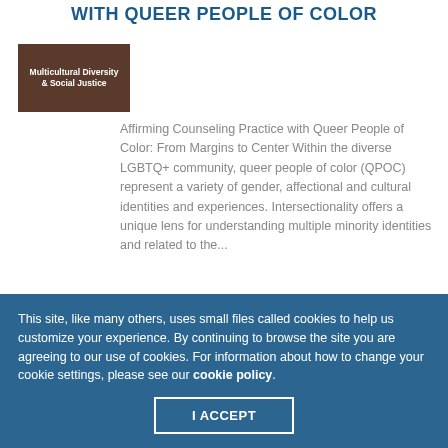WITH QUEER PEOPLE OF COLOR
[Figure (photo): Book or resource cover image with text 'Multicultural Diversity & Social Justice' on a brown background]
Affirming Counseling Practice with Queer People of Color: From Margins to Center Within the diverse LGBTQ+ community, queer people of color (QPOC) represent a variety of gender, affectional and cultural identities and experiences. Intersectionality offers a unique lens for understanding multiple minority identities and related to the...
This site, like many others, uses small files called cookies to help us customize your experience. By continuing to browse the site you are agreeing to our use of cookies. For information about how to change your cookie settings, please see our cookie policy.
I ACCEPT